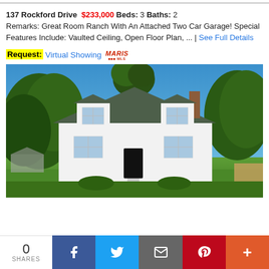137 Rockford Drive  $233,000  Beds: 3  Baths: 2 Remarks: Great Room Ranch With An Attached Two Car Garage! Special Features Include: Vaulted Ceiling, Open Floor Plan, ... | See Full Details
Request: Virtual Showing MARIS
[Figure (photo): Exterior photo of a white Cape Cod style house with green/gray roof, dormer windows, front door, surrounded by large trees, blue sky background, green lawn in foreground]
0 SHARES